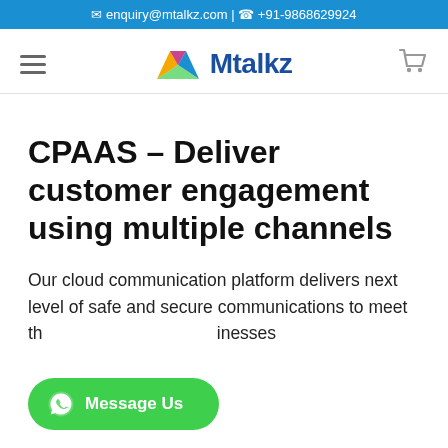✉ enquiry@mtalkz.com | ☎ +91-9868629924
[Figure (logo): Mtalkz logo with colorful M icon and blue Mtalkz text, with hamburger menu and cart icon]
CPAAS – Deliver customer engagement using multiple channels
Our cloud communication platform delivers next level of safe and secure communications to meet the needs of businesses